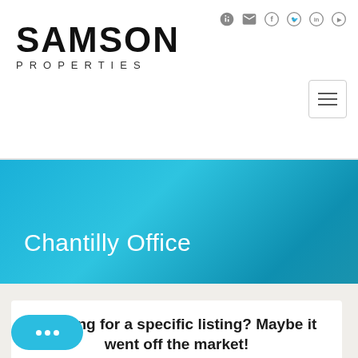[Figure (logo): Samson Properties logo with large SAMSON text and PROPERTIES subtitle]
[Figure (infographic): Navigation icons: login, email, Facebook, Twitter, LinkedIn, YouTube]
[Figure (other): Hamburger menu button (three horizontal lines in a bordered box)]
Chantilly Office
Looking for a specific listing? Maybe it went off the market!
Don't fret! Just use the search on the right to search 1000's of listings for something similar.